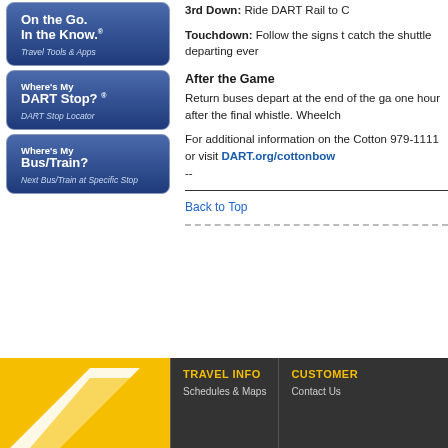[Figure (screenshot): Blue gradient button: On the Go. In the Know. Travel Tools & Apps]
[Figure (screenshot): Blue gradient button: Where's My DART Stop? DART Stop Locator]
[Figure (screenshot): Blue gradient button: Where's My Bus/Train? Next Bus/Train at Specific Stop]
3rd Down: Ride DART Rail to C
Touchdown: Follow the signs t catch the shuttle departing ever
After the Game
Return buses depart at the end of the ga one hour after the final whistle. Wheelch
For additional information on the Cotton 979-1111 or visit DART.org/cottonbow --
Back to Top
TRAVEL INFO | Schedules & Maps | CUSTOMER | Contact Us